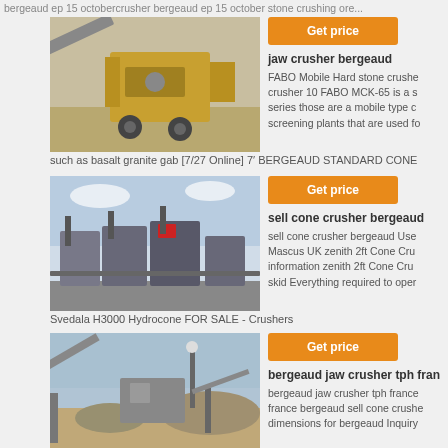bergeaud ep 15 octobercrusher bergeaud ep 15 october stone crushing ore...
[Figure (photo): Yellow mobile jaw crusher machine on a construction/mining site]
Get price
jaw crusher bergeaud
FABO Mobile Hard stone crusher 10 FABO MCK-65 is a series those are a mobile type ch screening plants that are used fo
such as basalt granite gab [7/27 Online] 7' BERGEAUD STANDARD CONE
[Figure (photo): Industrial cone crusher plant machinery setup]
Get price
sell cone crusher bergeaud
sell cone crusher bergeaud Used Mascus UK zenith 2ft Cone Crus information zenith 2ft Cone Crus skid Everything required to opera
Svedala H3000 Hydrocone FOR SALE - Crushers
[Figure (photo): Stone crushing plant with conveyor belts and equipment]
Get price
bergeaud jaw crusher tph fran
bergeaud jaw crusher tph france bergeaud sell cone crushe dimensions for bergeaud Inquiry